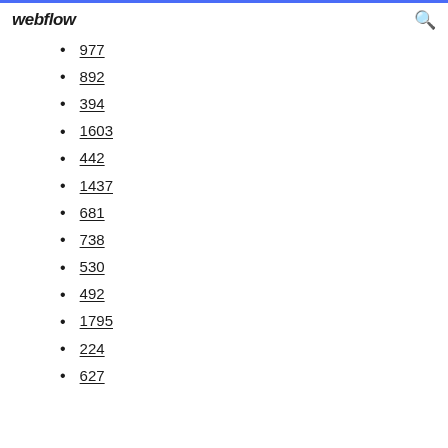webflow
977
892
394
1603
442
1437
681
738
530
492
1795
224
627